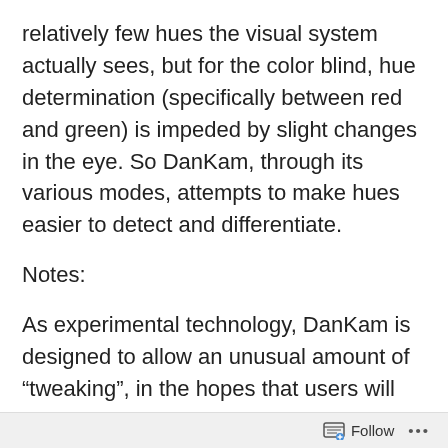relatively few hues the visual system actually sees, but for the color blind, hue determination (specifically between red and green) is impeded by slight changes in the eye. So DanKam, through its various modes, attempts to make hues easier to detect and differentiate.
Notes:
As experimental technology, DanKam is designed to allow an unusual amount of “tweaking”, in the hopes that users will discover particularly effective settings.
DanKam is presently optimized for the most common form of color blindness, Anomalous Trichromancy, which is not actually blind to any particular color but represents a lessened ability to differentiate certain reds from certain
Follow •••